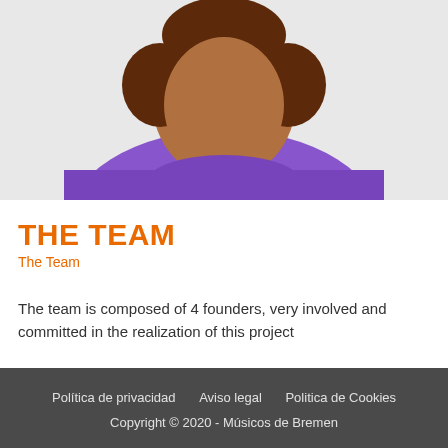[Figure (illustration): Illustration of a person with dark curly hair wearing a purple top, shown from shoulders up, cropped at top of page]
THE TEAM
The Team
The team is composed of 4 founders, very involved and committed in the realization of this project
Política de privacidad   Aviso legal   Politica de Cookies
Copyright © 2020 - Músicos de Bremen